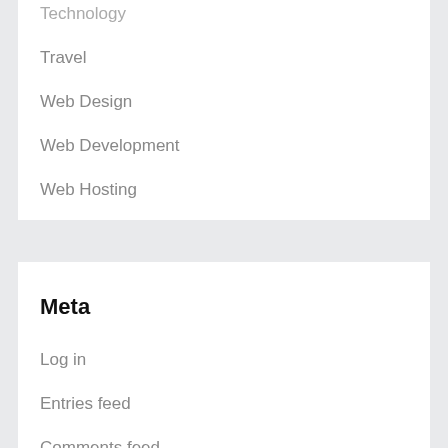Technology
Travel
Web Design
Web Development
Web Hosting
wedding
Meta
Log in
Entries feed
Comments feed
WordPress.org